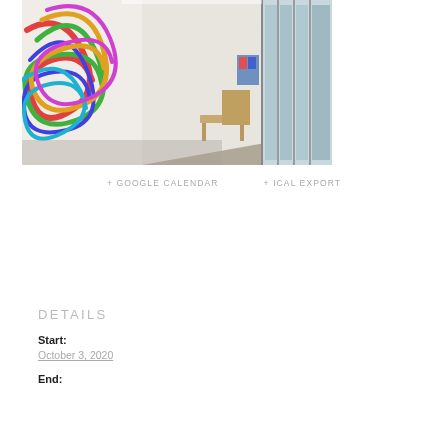[Figure (photo): Interior view of an art gallery hallway with colorful ribbon-like wall sculpture on the left, white walls, concrete floor, a bench, and large windows on the right showing an outdoor courtyard]
+ GOOGLE CALENDAR    + ICAL EXPORT
DETAILS
Start:
October 3, 2020
End: